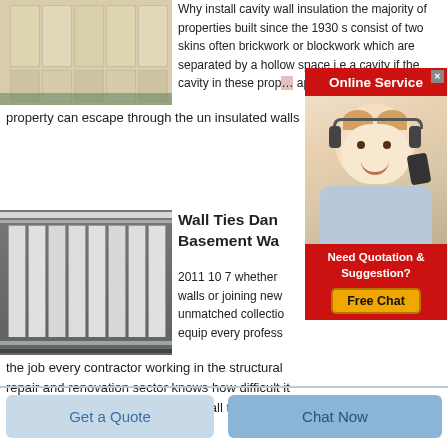[Figure (photo): Stacked rectangular white/beige block panels in a storage area]
Why install cavity wall insulation the majority of properties built since the 1930 s consist of two skins often brickwork or blockwork which are separated by a hollow space i.e a cavity if the cavity in these properties is un insulated approximately 35 of property can escape through the un insulated walls
[Figure (photo): Large white wall panels stored upright in an industrial facility]
Wall Ties Dan Basement Wa
2011 10 7 whether walls or joining new unmatched collection equip every professional the job every contractor working in the structural repair and renovation sector knows how difficult it can be to source exactly the right wall ties for a particular
[Figure (screenshot): Online Service popup with agent photo, Need Quotation & Suggestion panel and Free Chat button]
Get a Quote
Chat Now